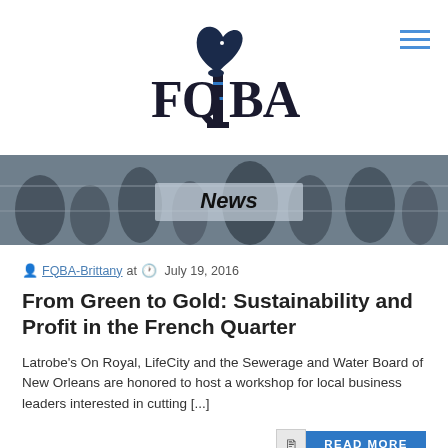[Figure (logo): FQBA logo with chess knight on a pillar, black and blue text]
[Figure (photo): Black and white banner photo of people in an outdoor market or street scene with 'News' label overlay]
FQBA-Brittany at  July 19, 2016
From Green to Gold: Sustainability and Profit in the French Quarter
Latrobe's On Royal, LifeCity and the Sewerage and Water Board of New Orleans are honored to host a workshop for local business leaders interested in cutting [...]
READ MORE